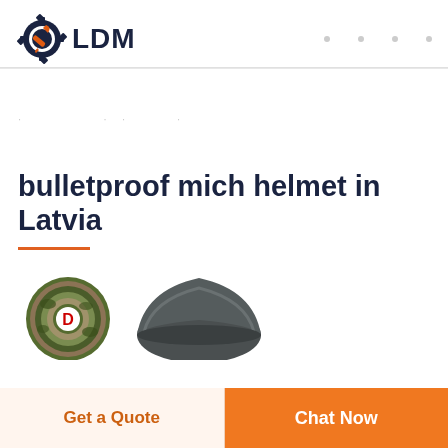[Figure (logo): LDM logo: gear with wrench icon in dark navy and orange, text LDM in bold dark navy]
bulletproof mich helmet in Latvia
[Figure (photo): Two helmet product images: left is a camouflage-patterned round helmet badge/patch with letter D, right is a dark grey ballistic/bulletproof helmet shown from above]
Get a Quote
Chat Now